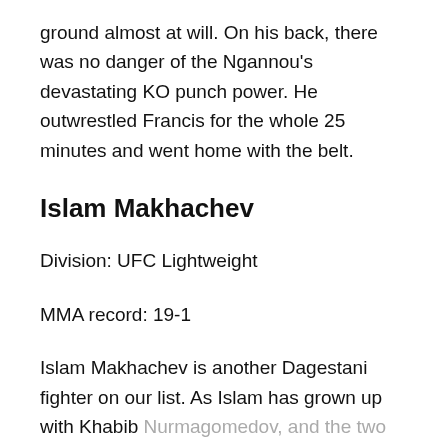ground almost at will. On his back, there was no danger of the Ngannou's devastating KO punch power. He outwrestled Francis for the whole 25 minutes and went home with the belt.
Islam Makhachev
Division: UFC Lightweight
MMA record: 19-1
Islam Makhachev is another Dagestani fighter on our list. As Islam has grown up with Khabib Nurmagomedov, and the two are training partners for years, Islam is just like Khabib, a world class sambo